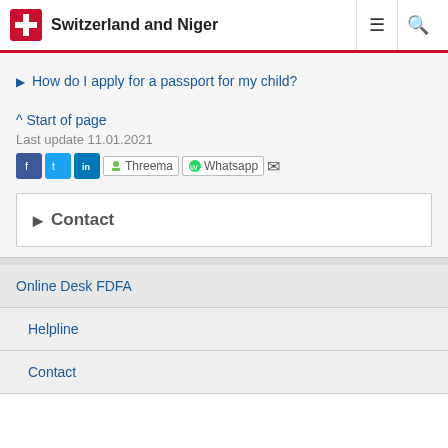Switzerland and Niger
How do I apply for a passport for my child?
^ Start of page
Last update 11.01.2021
[Figure (infographic): Social media sharing icons: Facebook, Twitter, LinkedIn, Threema, WhatsApp, Email]
Contact
Online Desk FDFA
Helpline
Contact